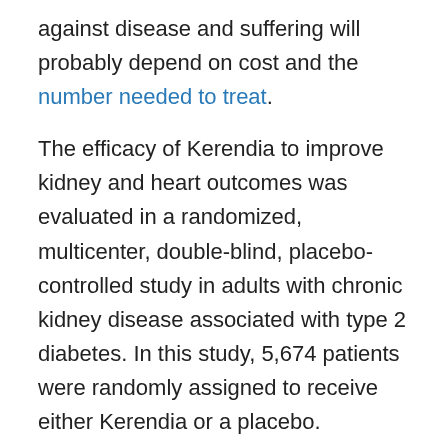against disease and suffering will probably depend on cost and the number needed to treat.
The efficacy of Kerendia to improve kidney and heart outcomes was evaluated in a randomized, multicenter, double-blind, placebo-controlled study in adults with chronic kidney disease associated with type 2 diabetes. In this study, 5,674 patients were randomly assigned to receive either Kerendia or a placebo.
The study compared the two groups for the number of patients whose disease progressed to a composite (or combined) endpoint that included at least a 40% reduction in kidney function, progression to kidney failure, or kidney death. Results showed that 504 of the 2,833 patients who received Kerendia had at least one of the events in the composite endpoint compared to 600 of the 2,841 patients